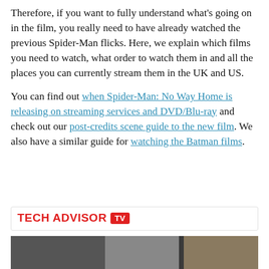Therefore, if you want to fully understand what's going on in the film, you really need to have already watched the previous Spider-Man flicks. Here, we explain which films you need to watch, what order to watch them in and all the places you can currently stream them in the UK and US.
You can find out when Spider-Man: No Way Home is releasing on streaming services and DVD/Blu-ray and check out our post-credits scene guide to the new film. We also have a similar guide for watching the Batman films.
[Figure (logo): Tech Advisor TV logo with red text and red TV badge]
[Figure (screenshot): Video thumbnail showing a person in front of a bookcase and framed art on the wall]